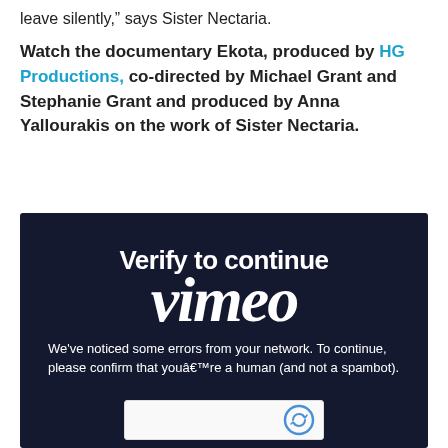leave silently,” says Sister Nectaria.
Watch the documentary Ekota, produced by HG Productions, co-directed by Michael Grant and Stephanie Grant and produced by Anna Yallourakis on the work of Sister Nectaria.
[Figure (screenshot): Vimeo 'Verify to continue' CAPTCHA overlay on dark navy background, showing the Vimeo logo watermark and text: 'Verify to continue. We've noticed some errors from your network. To continue, please confirm that youâ€™re a human (and not a spambot).' with a reCAPTCHA widget at the bottom.]